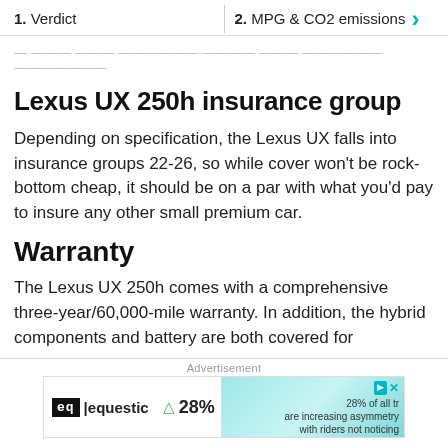1. Verdict  |  2. MPG & CO2 emissions
... miles per gallon from the smaller unit.
Lexus UX 250h insurance group
Depending on specification, the Lexus UX falls into insurance groups 22-26, so while cover won't be rock-bottom cheap, it should be on a par with what you'd pay to insure any other small premium car.
Warranty
The Lexus UX 250h comes with a comprehensive three-year/60,000-mile warranty. In addition, the hybrid components and battery are both covered for
Advertisement